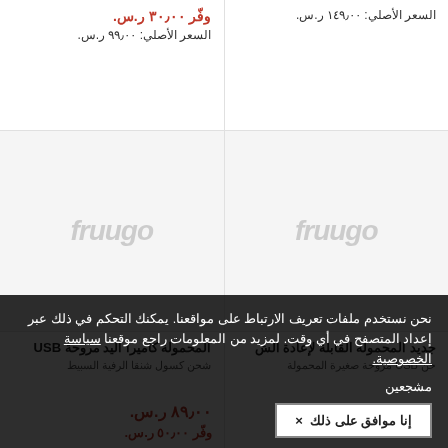السعر الأصلي: ١٤٩٫٠٠ ر.س.
وفّر ٣٠٫٠٠ ر.س.
السعر الأصلي: ٩٩٫٠٠ ر.س.
[Figure (logo): fruugo watermark logo placeholder image (left product)]
[Figure (logo): fruugo watermark logo placeholder image (right product)]
المحمولة كاميرا اليد مروحة USB
جديد المحمولة القابلة لإعادة الش
شحن كسول شنقا الرفية السبيط
حن USB مروحة صغيرة المحمولة
نحن نستخدم ملفات تعريف الارتباط على مواقعنا. يمكنك التحكم في ذلك عبر إعداد المتصفح في أي وقت. لمزيد من المعلومات راجع موقعنا سياسة الخصوصية.
مشجعين
إنا موافق على ذلك ×
٨٩٫٠٠ ر.س.
وفّر ٥٠٫٠٠ ر.س.